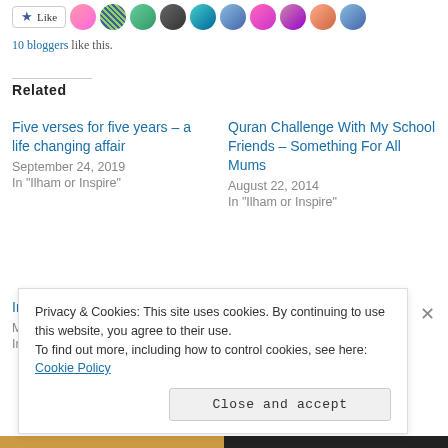[Figure (screenshot): Like button with star icon and a row of 10 avatar thumbnails of bloggers]
10 bloggers like this.
Related
Five verses for five years – a life changing affair
September 24, 2019
In "Ilham or Inspire"
Quran Challenge With My School Friends – Something For All Mums
August 22, 2014
In "Ilham or Inspire"
In the mother's madrassah
March 20, 2017
In "Ilham or Inspire"
Privacy & Cookies: This site uses cookies. By continuing to use this website, you agree to their use.
To find out more, including how to control cookies, see here: Cookie Policy
Close and accept